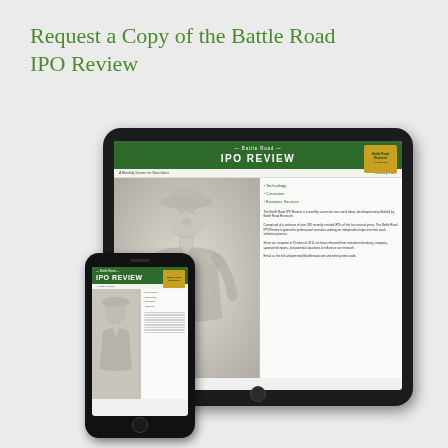Request a Copy of the Battle Road IPO Review
[Figure (photo): Tablet and smartphone displaying the Battle Road IPO Review publication. The tablet shows a cover with a green header reading 'Battle Road IPO REVIEW', a colonial-era statue in the center, and text content on the right side. The phone in the foreground shows a similar layout at smaller scale.]